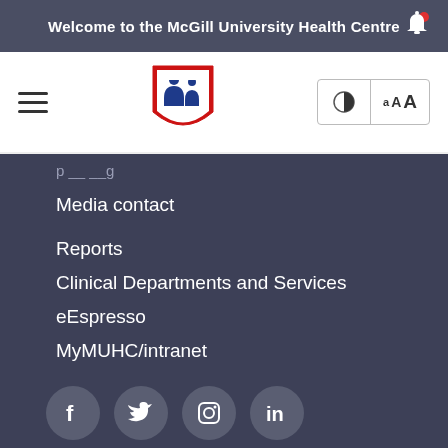Welcome to the McGill University Health Centre
[Figure (screenshot): McGill University Health Centre website navigation bar with hamburger menu, MUHC shield logo, contrast and text size controls]
Media contact
Reports
Clinical Departments and Services
eEspresso
MyMUHC/intranet
[Figure (other): Social media icons: Facebook, Twitter, Instagram, LinkedIn]